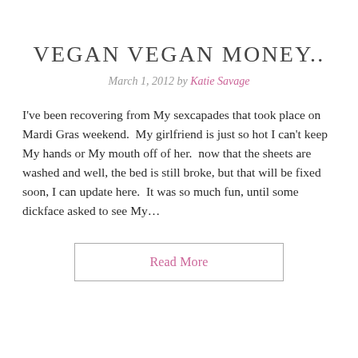VEGAN VEGAN MONEY..
March 1, 2012 by Katie Savage
I've been recovering from My sexcapades that took place on Mardi Gras weekend.  My girlfriend is just so hot I can't keep My hands or My mouth off of her.  now that the sheets are washed and well, the bed is still broke, but that will be fixed soon, I can update here.  It was so much fun, until some dickface asked to see My…
Read More